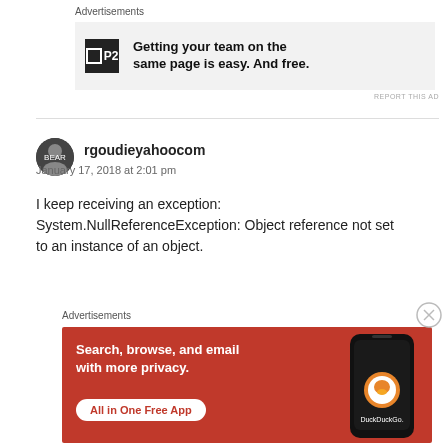Advertisements
[Figure (screenshot): P2 advertisement: Getting your team on the same page is easy. And free.]
REPORT THIS AD
rgoudieyahoocom
January 17, 2018 at 2:01 pm
I keep receiving an exception:
System.NullReferenceException: Object reference not set to an instance of an object.
Advertisements
[Figure (screenshot): DuckDuckGo advertisement: Search, browse, and email with more privacy. All in One Free App.]
REPORT THIS AD